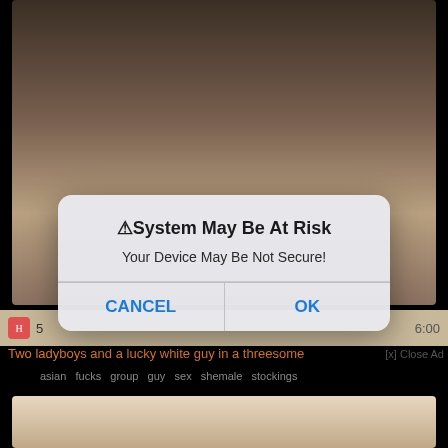[Figure (screenshot): Screenshot of an adult video website with a system alert dialog overlay. The background shows video thumbnails. A modal dialog reads: '⚠System May Be At Risk - Your Device May Be Not Secure!' with CANCEL and OK buttons. Below the dialog is visible website content including a video title and tags.]
⚠System May Be At Risk
Your Device May Be Not Secure!
CANCEL
OK
Two ladyboys and a lucky white guy in a threesome
asian  fucks  group  guy  sex  shemale  stockings